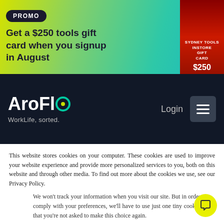[Figure (screenshot): Promo banner with gradient background showing 'PROMO' badge and text 'Get a $250 tools gift card when you signup in August' with a Sydney Tools gift card image on the right]
[Figure (screenshot): AroFlo navigation bar on dark background with logo 'AroFlo' and tagline 'WorkLife, sorted.' plus Login text and hamburger menu button]
This website stores cookies on your computer. These cookies are used to improve your website experience and provide more personalized services to you, both on this website and through other media. To find out more about the cookies we use, see our Privacy Policy.
We won't track your information when you visit our site. But in order to comply with your preferences, we'll have to use just one tiny cookie so that you're not asked to make this choice again.